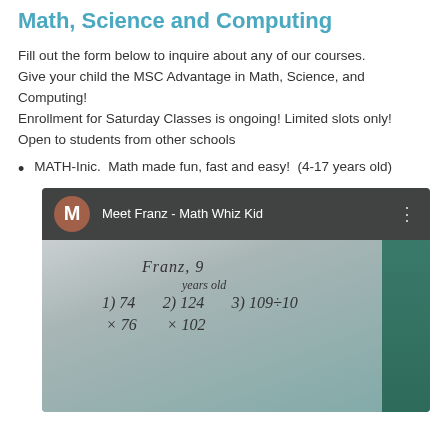Math, Science and Computing
Fill out the form below to inquire about any of our courses. Give your child the MSC Advantage in Math, Science, and Computing!
Enrollment for Saturday Classes is ongoing! Limited slots only!
Open to students from other schools
MATH-Inic.  Math made fun, fast and easy!  (4-17 years old)
[Figure (screenshot): Screenshot of a YouTube-style video titled 'Meet Franz - Math Whiz Kid' showing a whiteboard with math problems. Franz, 9 years old, solving multiplication: 1) 74 x 76, 2) 124 x 102, 3) 109÷10]